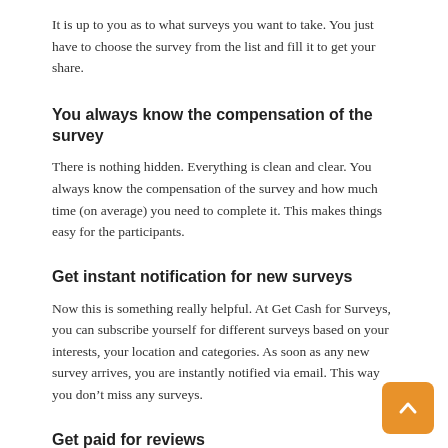It is up to you as to what surveys you want to take. You just have to choose the survey from the list and fill it to get your share.
You always know the compensation of the survey
There is nothing hidden. Everything is clean and clear. You always know the compensation of the survey and how much time (on average) you need to complete it. This makes things easy for the participants.
Get instant notification for new surveys
Now this is something really helpful. At Get Cash for Surveys, you can subscribe yourself for different surveys based on your interests, your location and categories. As soon as any new survey arrives, you are instantly notified via email. This way you don’t miss any surveys.
Get paid for reviews
When you sign up at Get Cash for Surveys, you can also participate in paid product reviews. You can choose to write as many reviews and get paid for them. You will keep the product